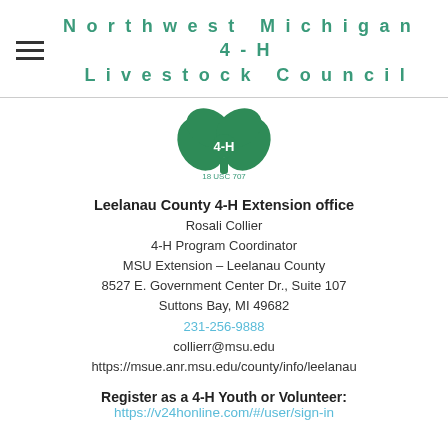Northwest Michigan 4-H Livestock Council
[Figure (logo): 4-H clover logo with text '18 USC 707']
Leelanau County 4-H Extension office
Rosali Collier
4-H Program Coordinator
MSU Extension - Leelanau County
8527 E. Government Center Dr., Suite 107
Suttons Bay, MI 49682
231-256-9888
collierr@msu.edu
https://msue.anr.msu.edu/county/info/leelanau
Register as a 4-H Youth or Volunteer:
https://v24honline.com/#/user/sign-in